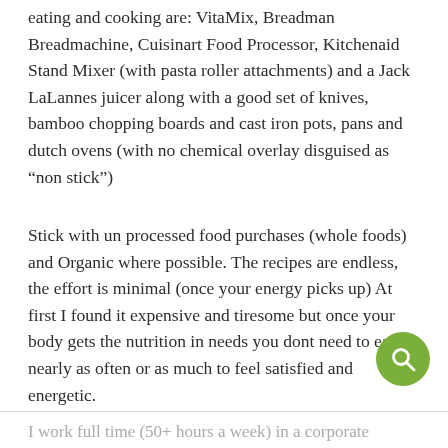eating and cooking are: VitaMix, Breadman Breadmachine, Cuisinart Food Processor, Kitchenaid Stand Mixer (with pasta roller attachments) and a Jack LaLannes juicer along with a good set of knives, bamboo chopping boards and cast iron pots, pans and dutch ovens (with no chemical overlay disguised as “non stick”)
Stick with un processed food purchases (whole foods) and Organic where possible. The recipes are endless, the effort is minimal (once your energy picks up) At first I found it expensive and tiresome but once your body gets the nutrition in needs you dont need to eat nearly as often or as much to feel satisfied and energetic.
I work full time (50+ hours a week) in a corporate